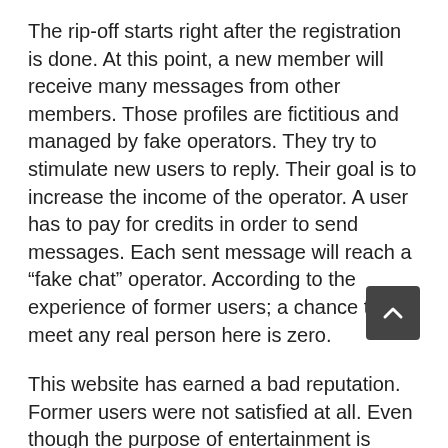The rip-off starts right after the registration is done. At this point, a new member will receive many messages from other members. Those profiles are fictitious and managed by fake operators. They try to stimulate new users to reply. Their goal is to increase the income of the operator. A user has to pay for credits in order to send messages. Each sent message will reach a “fake chat” operator. According to the experience of former users; a chance to meet any real person here is zero.
This website has earned a bad reputation. Former users were not satisfied at all. Even though the purpose of entertainment is noted on the landing page, they call it a fake chat scam. Well, the goal of the website is not the entertainment of its members. The fake profiles are there to generate more income for the site’s operator. Of course, this